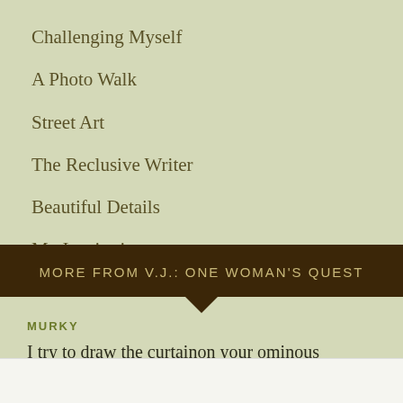Challenging Myself
A Photo Walk
Street Art
The Reclusive Writer
Beautiful Details
My Inspiration
MORE FROM V.J.: ONE WOMAN'S QUEST
MURKY
I try to draw the curtainon your ominous darkness,as if emotions
Advertisements
Getting your team on the same page is easy. And free.